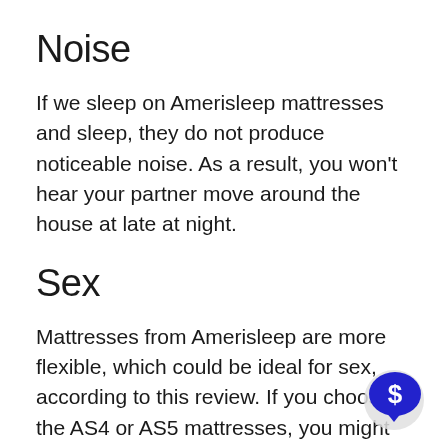Noise
If we sleep on Amerisleep mattresses and sleep, they do not produce noticeable noise. As a result, you won't hear your partner move around the house at late at night.
Sex
Mattresses from Amerisleep are more flexible, which could be ideal for sex, according to this review. If you choose the AS4 or AS5 mattresses, you might sink even deeper and have difficulties getting your partner to move around.
[Figure (illustration): Blue speech bubble icon with a dollar sign inside, overlaid on a gray circular background in the bottom right corner]